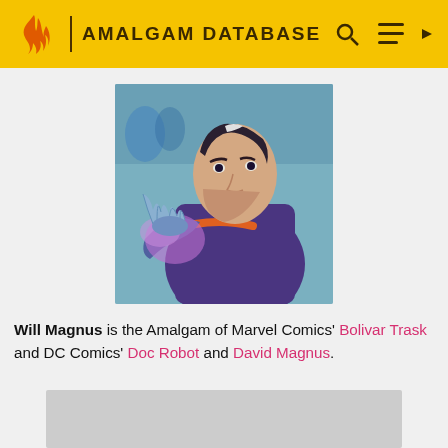AMALGAM DATABASE
[Figure (illustration): Comic book illustration of Will Magnus character — a man with white-streaked dark hair, sharp features, wearing a dark purple and orange costume, with metallic claw-like blue fingers raised near his face, with purple energy effects around him]
Will Magnus is the Amalgam of Marvel Comics' Bolivar Trask and DC Comics' Doc Robot and David Magnus.
[Figure (other): Partially visible bottom image placeholder (gray rectangle)]